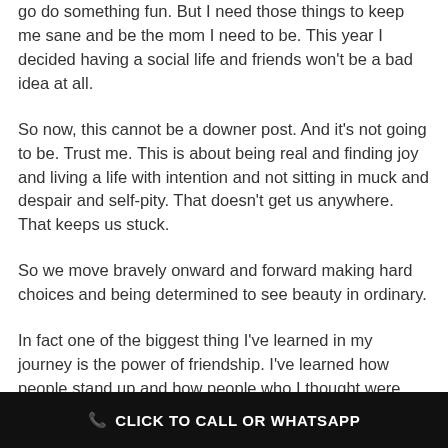go do something fun. But I need those things to keep me sane and be the mom I need to be. This year I decided having a social life and friends won't be a bad idea at all.
So now, this cannot be a downer post. And it's not going to be. Trust me. This is about being real and finding joy and living a life with intention and not sitting in muck and despair and self-pity. That doesn't get us anywhere. That keeps us stuck.
So we move bravely onward and forward making hard choices and being determined to see beauty in ordinary.
In fact one of the biggest thing I've learned in my journey is the power of friendship. I've learned how people stand up and how people who I thought were
📞 CLICK TO CALL OR WHATSAPP